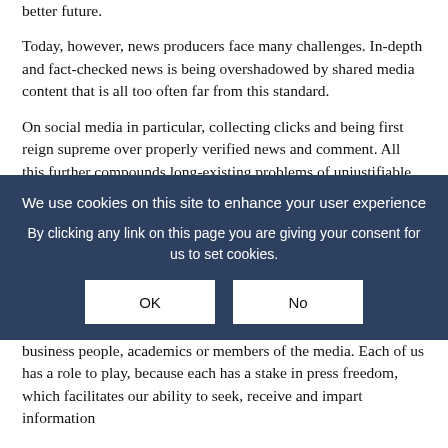better future.
Today, however, news producers face many challenges. In-depth and fact-checked news is being overshadowed by shared media content that is all too often far from this standard.
On social media in particular, collecting clicks and being first reign supreme over properly verified news and comment. All this further compounds long-existing problems of unjustifiable curbs on press freedom in many parts of the world.
In these circumstances, where does the responsibility lie for ensuring that fact-based debate is not stifled? Whose duty is it to strengthen the media's potential to foster a better future for all?
We use cookies on this site to enhance your user experience
By clicking any link on this page you are giving your consent for us to set cookies.
OK
No
business people, academics or members of the media. Each of us has a role to play, because each has a stake in press freedom, which facilitates our ability to seek, receive and impart information